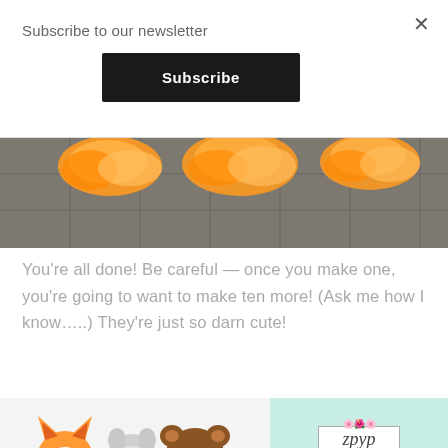Subscribe to our newsletter
Subscribe
[Figure (photo): Photo of orange polyester fiberfill stuffing on a tiled surface]
You’re all done!  Be careful — once you make one, you’re going to want to make ten more!  (Ask me how I know…..)  They’re just so darn cute!
[Figure (photo): Three stuffed animal plushies: an orange fox, a grey crocheted owl, and a brown bear]
[Figure (other): Mint green advertisement panel with ZPYP PDF Sewing Patterns logo and text reading PLUSHIE PALS FREE PDF]